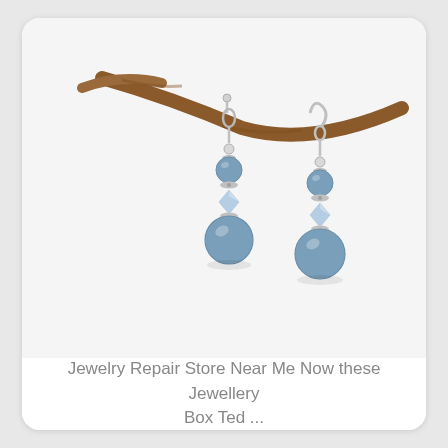[Figure (photo): Photo of a pair of blue pearl and crystal drop earrings hanging from a brown twig branch. The earrings feature matte blue pearl beads, silver-tone spacer beads, and light blue crystal bicone beads arranged in a stacked design with silver hook ear wires.]
Jewelry Repair Store Near Me Now these Jewellery Box Ted ...